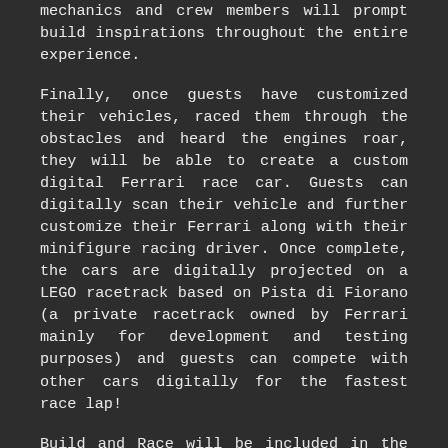mechanics and crew members will prompt build inspirations throughout the entire experience.
Finally, once guests have customized their vehicles, raced them through the obstacles and heard the engines roar, they will be able to create a custom digital Ferrari race car. Guests can digitally scan their vehicle and further customize their Ferrari along with their minifigure racing driver. Once complete, the cars are digitally projected on a LEGO racetrack based on Pista di Fiorano (a private racetrack owned by Ferrari mainly for development and testing purposes) and guests can compete with other cars digitally for the fastest race lap!
Build and Race will be included in the price of admission to LEGOLAND California Resort. For LEGOLAND California Resort ticket prices, operating schedule and additional information, visit www.LEGOLAND.com or call 760-918-LEGO (5346).
###